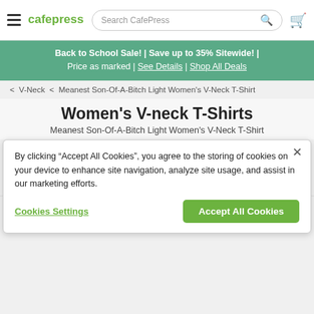CafePress — Search CafePress header with navigation and cart
Back to School Sale! | Save up to 35% Sitewide! | Price as marked | See Details | Shop All Deals
< V-Neck < Meanest Son-Of-A-Bitch Light Women's V-Neck T-Shirt
Women's V-neck T-Shirts
Meanest Son-Of-A-Bitch Light Women's V-Neck T-Shirt
[Figure (photo): Product photo of a woman wearing a V-neck t-shirt, partially visible]
By clicking “Accept All Cookies”, you agree to the storing of cookies on your device to enhance site navigation, analyze site usage, and assist in our marketing efforts.
Cookies Settings | Accept All Cookies